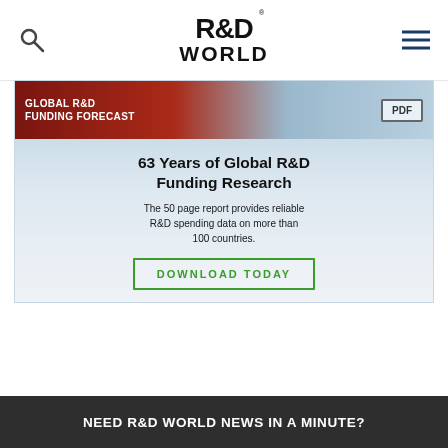R&D WORLD
[Figure (infographic): Advertisement for Global R&D Funding Forecast report. Shows '63 Years of Global R&D Funding Research' with text 'The 50 page report provides reliable R&D spending data on more than 100 countries.' and a 'DOWNLOAD TODAY' button. Background shows person typing on laptop.]
NEED R&D WORLD NEWS IN A MINUTE?